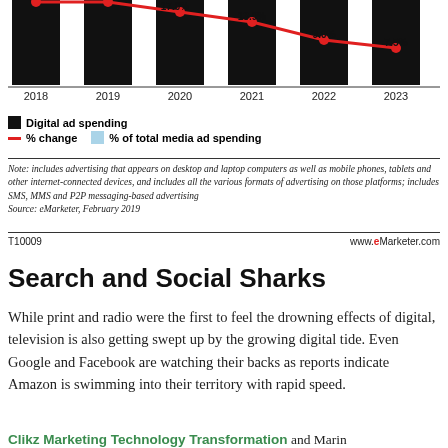[Figure (bar-chart): Digital ad spending with % change and % of total media ad spending]
Digital ad spending | % change | % of total media ad spending
Note: includes advertising that appears on desktop and laptop computers as well as mobile phones, tablets and other internet-connected devices, and includes all the various formats of advertising on those platforms; includes SMS, MMS and P2P messaging-based advertising
Source: eMarketer, February 2019
T10009    www.eMarketer.com
Search and Social Sharks
While print and radio were the first to feel the drowning effects of digital, television is also getting swept up by the growing digital tide. Even Google and Facebook are watching their backs as reports indicate Amazon is swimming into their territory with rapid speed.
Clikz Marketing Technology Transformation and Marin